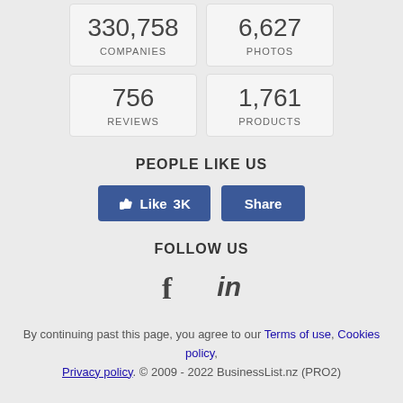330,758 COMPANIES
6,627 PHOTOS
756 REVIEWS
1,761 PRODUCTS
PEOPLE LIKE US
[Figure (other): Facebook Like 3K and Share buttons]
FOLLOW US
[Figure (other): Facebook and LinkedIn social icons]
By continuing past this page, you agree to our Terms of use, Cookies policy, Privacy policy. © 2009 - 2022 BusinessList.nz (PRO2)